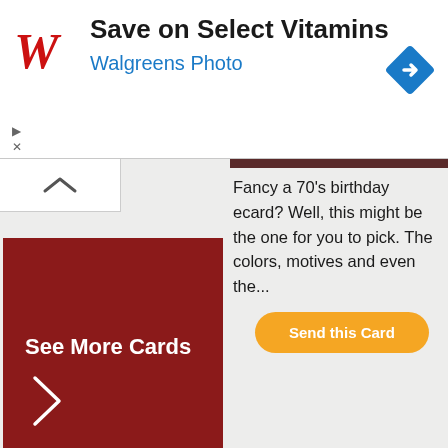[Figure (screenshot): Walgreens advertisement banner with red cursive W logo, text 'Save on Select Vitamins' and 'Walgreens Photo', and a blue navigation diamond icon in top right. Play and X controls at bottom left.]
Fancy a 70's birthday ecard? Well, this might be the one for you to pick. The colors, motives and even the...
Send this Card
See More Cards